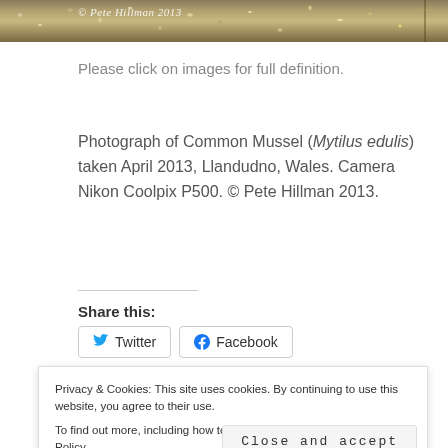[Figure (photo): A photo strip showing pebbles/shells on a beach with copyright watermark '© Pete Hillman 2013']
Please click on images for full definition.
Photograph of Common Mussel (Mytilus edulis) taken April 2013, Llandudno, Wales. Camera Nikon Coolpix P500. © Pete Hillman 2013.
Share this:
Twitter   Facebook
Privacy & Cookies: This site uses cookies. By continuing to use this website, you agree to their use.
To find out more, including how to control cookies, see here: Cookie Policy
Close and accept